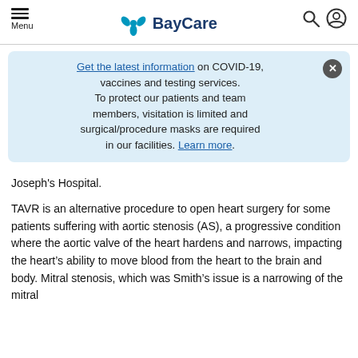Menu | BayCare
Get the latest information on COVID-19, vaccines and testing services. To protect our patients and team members, visitation is limited and surgical/procedure masks are required in our facilities. Learn more.
Joseph's Hospital.
TAVR is an alternative procedure to open heart surgery for some patients suffering with aortic stenosis (AS), a progressive condition where the aortic valve of the heart hardens and narrows, impacting the heart's ability to move blood from the heart to the brain and body. Mitral stenosis, which was Smith's issue is a narrowing of the mitral